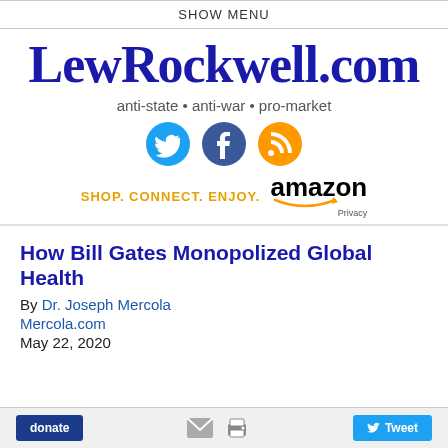SHOW MENU
[Figure (logo): LewRockwell.com website logo in bold dark blue serif font]
anti-state • anti-war • pro-market
[Figure (illustration): Social media icons: Twitter (cyan bird), Facebook (dark blue f), RSS (orange signal icon)]
[Figure (logo): Amazon affiliate banner: SHOP. CONNECT. ENJOY. in orange text beside Amazon logo with arrow. Privacy text below.]
How Bill Gates Monopolized Global Health
By Dr. Joseph Mercola
Mercola.com
May 22, 2020
[Figure (screenshot): Action bar with donate button, email/print icons, and Tweet button]